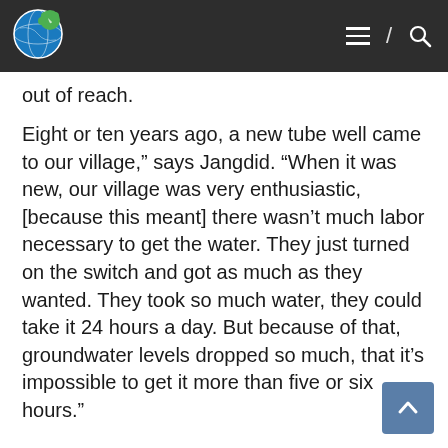[Navigation bar with globe logo, hamburger menu, slash, and search icon]
out of reach.
Eight or ten years ago, a new tube well came to our village," says Jangdid. "When it was new, our village was very enthusiastic, [because this meant] there wasn't much labor necessary to get the water. They just turned on the switch and got as much as they wanted. They took so much water, they could take it 24 hours a day. But because of that, groundwater levels dropped so much, that it's impossible to get it more than five or six hours."